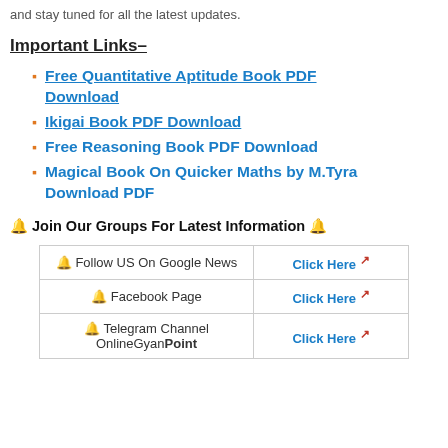and stay tuned for all the latest updates.
Important Links–
Free Quantitative Aptitude Book PDF Download
Ikigai Book PDF Download
Free Reasoning Book PDF Download
Magical Book On Quicker Maths by M.Tyra Download PDF
🔔 Join Our Groups For Latest Information 🔔
|  |  |
| --- | --- |
| 🔔 Follow US On Google News | Click Here 🔗 |
| 🔔 Facebook Page | Click Here 🔗 |
| 🔔 Telegram Channel OnlineGyanPoint | Click Here 🔗 |